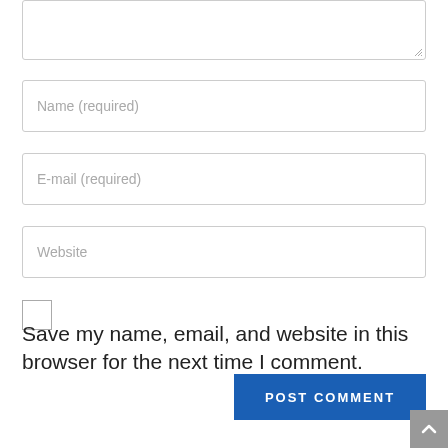[Figure (screenshot): Partial textarea input field (top portion cut off) with resize handle at bottom-right]
Name (required)
E-mail (required)
Website
[Figure (screenshot): Checkbox (unchecked)]
Save my name, email, and website in this browser for the next time I comment.
POST COMMENT